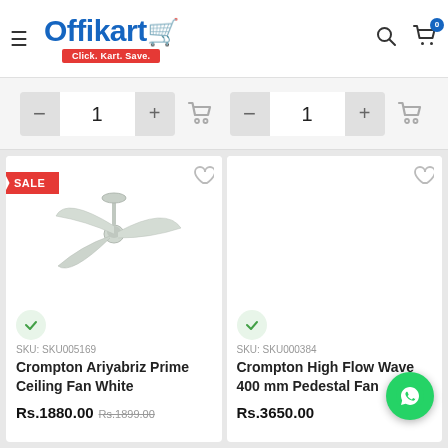Offikart - Click. Kart. Save.
[Figure (photo): Crompton Ariyabriz Prime Ceiling Fan White product image with SALE tag]
SKU: SKU005169
Crompton Ariyabriz Prime Ceiling Fan White
Rs.1880.00  Rs.1899.00
[Figure (photo): Crompton High Flow Wave 400 mm Pedestal Fan product image (partially visible)]
SKU: SKU000384
Crompton High Flow Wave 400 mm Pedestal Fan
Rs.3650.00